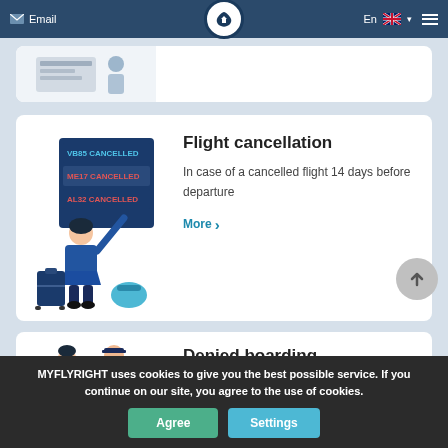Email | En | (navigation)
[Figure (illustration): Partially visible card at top of page]
Flight cancellation
In case of a cancelled flight 14 days before departure
More >
Denied boarding
In case of overbooking / denied boarding
MYFLYRIGHT uses cookies to give you the best possible service. If you continue on our site, you agree to the use of cookies.